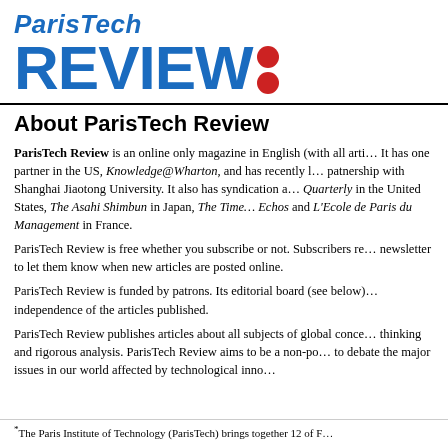[Figure (logo): ParisTech Review logo: italic blue 'ParisTech' text above large bold blue 'REVIEW' with two red circles as a colon]
About ParisTech Review
ParisTech Review is an online only magazine in English (with all arti... It has one partner in the US, Knowledge@Wharton, and has recently l... patnership with Shanghai Jiaotong University. It also has syndication a... Quarterly in the United States, The Asahi Shimbun in Japan, The Time... Echos and L'Ecole de Paris du Management in France.
ParisTech Review is free whether you subscribe or not. Subscribers re... newsletter to let them know when new articles are posted online.
ParisTech Review is funded by patrons. Its editorial board (see below)... independence of the articles published.
ParisTech Review publishes articles about all subjects of global conce... thinking and rigorous analysis. ParisTech Review aims to be a non-po... to debate the major issues in our world affected by technological inno...
*The Paris Institute of Technology (ParisTech) brings together 12 of F...